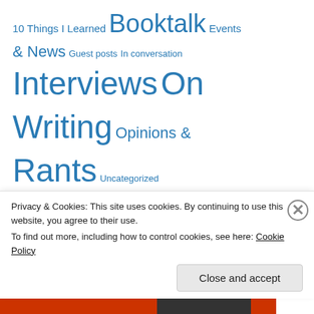10 Things I Learned  Booktalk  Events & News  Guest posts  In conversation  Interviews  On Writing  Opinions & Rants  Uncategorized
Looking for something?
Search
Privacy & Cookies: This site uses cookies. By continuing to use this website, you agree to their use.
To find out more, including how to control cookies, see here: Cookie Policy
Close and accept